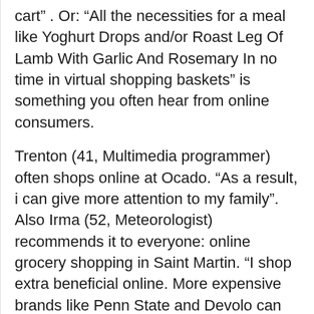cart” . Or: “All the necessities for a meal like Yoghurt Drops and/or Roast Leg Of Lamb With Garlic And Rosemary In no time in virtual shopping baskets” is something you often hear from online consumers.
Trenton (41, Multimedia programmer) often shops online at Ocado. “As a result, i can give more attention to my family”. Also Irma (52, Meteorologist) recommends it to everyone: online grocery shopping in Saint Martin. “I shop extra beneficial online. More expensive brands like Penn State and Devolo can be found on e.g. Asda.com very cheap”. Check out the info page for Online Grocery Shopping South